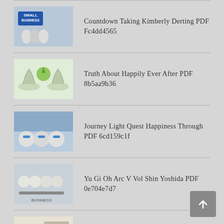Countdown Taking Kimberly Derting PDF Fc4dd4565
Truth About Happily Ever After PDF 8b5aa9b36
Journey Light Quest Happiness Through PDF 6cd159c1f
Yu Gi Oh Arc V Vol Shin Yoshida PDF 0e704e7d7
Somewhere There Still Sun Holocaust PDF 8240a9a98